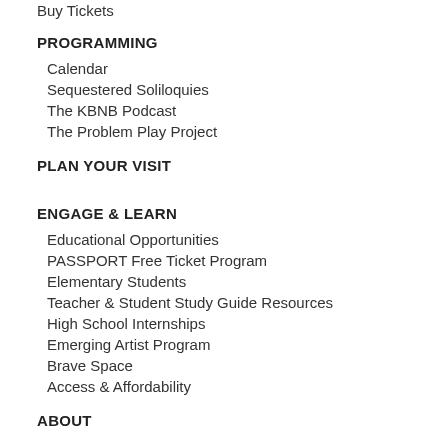Buy Tickets
PROGRAMMING
Calendar
Sequestered Soliloquies
The KBNB Podcast
The Problem Play Project
PLAN YOUR VISIT
ENGAGE & LEARN
Educational Opportunities
PASSPORT Free Ticket Program
Elementary Students
Teacher & Student Study Guide Resources
High School Internships
Emerging Artist Program
Brave Space
Access & Affordability
ABOUT
Mission & Core Values
Accountability
Our People
The Vault Theater